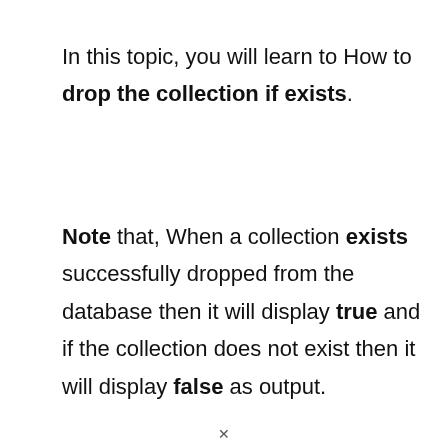In this topic, you will learn to How to drop the collection if exists.
Note that, When a collection exists successfully dropped from the database then it will display true and if the collection does not exist then it will display false as output.